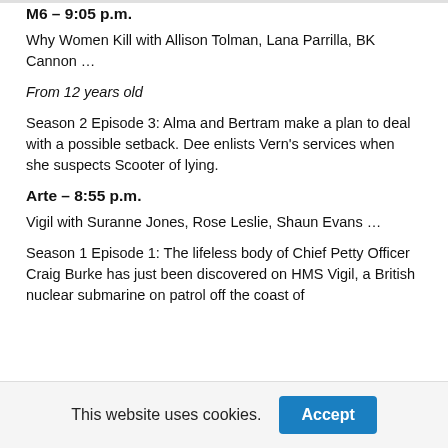M6 – 9:05 p.m.
Why Women Kill with Allison Tolman, Lana Parrilla, BK Cannon …
From 12 years old
Season 2 Episode 3: Alma and Bertram make a plan to deal with a possible setback. Dee enlists Vern's services when she suspects Scooter of lying.
Arte – 8:55 p.m.
Vigil with Suranne Jones, Rose Leslie, Shaun Evans …
Season 1 Episode 1: The lifeless body of Chief Petty Officer Craig Burke has just been discovered on HMS Vigil, a British nuclear submarine on patrol off the coast of
This website uses cookies.